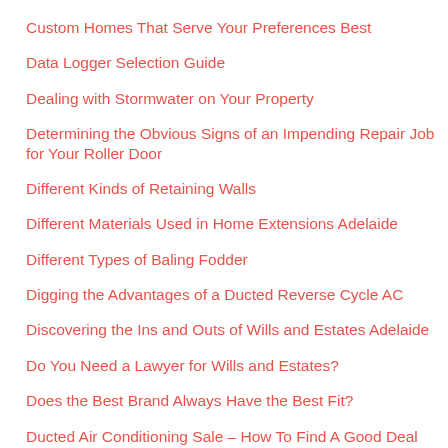Custom Homes That Serve Your Preferences Best
Data Logger Selection Guide
Dealing with Stormwater on Your Property
Determining the Obvious Signs of an Impending Repair Job for Your Roller Door
Different Kinds of Retaining Walls
Different Materials Used in Home Extensions Adelaide
Different Types of Baling Fodder
Digging the Advantages of a Ducted Reverse Cycle AC
Discovering the Ins and Outs of Wills and Estates Adelaide
Do You Need a Lawyer for Wills and Estates?
Does the Best Brand Always Have the Best Fit?
Ducted Air Conditioning Sale – How To Find A Good Deal